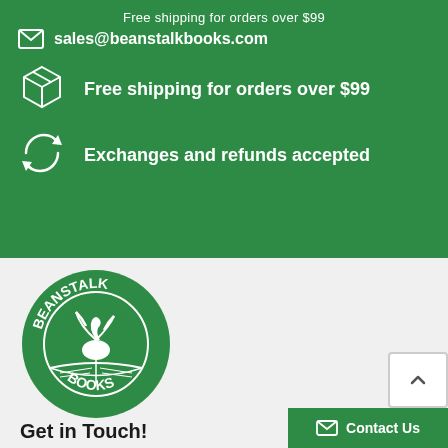Free shipping for orders over $99
sales@beanstalkbooks.com
Free shipping for orders over $99
Exchanges and refunds accepted
[Figure (logo): Beanstalk Books circular logo with swan and open book on green background]
Get in Touch!